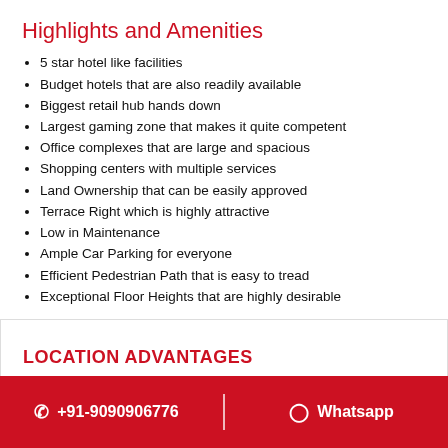Highlights and Amenities
5 star hotel like facilities
Budget hotels that are also readily available
Biggest retail hub hands down
Largest gaming zone that makes it quite competent
Office complexes that are large and spacious
Shopping centers with multiple services
Land Ownership that can be easily approved
Terrace Right which is highly attractive
Low in Maintenance
Ample Car Parking for everyone
Efficient Pedestrian Path that is easy to tread
Exceptional Floor Heights that are highly desirable
LOCATION ADVANTAGES
+91-9090906776 | Whatsapp